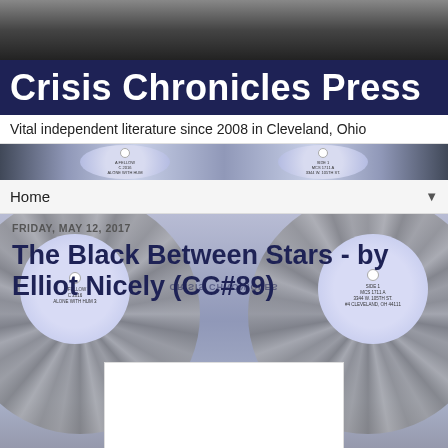[Figure (photo): Dark header photo showing hair/texture background]
Crisis Chronicles Press
Vital independent literature since 2008 in Cleveland, Ohio
[Figure (photo): Vinyl record strip with blue labels showing text]
Home
FRIDAY, MAY 12, 2017
The Black Between Stars - by Elliot Nicely (CC#89)
[Figure (photo): Book cover showing 'The Black Between Stars' by Elliot Nicely on white background with vinyl records on sides]